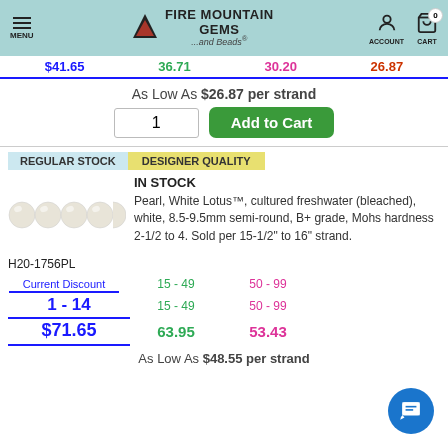MENU | FIRE MOUNTAIN GEMS ...and Beads® | ACCOUNT | CART 0
$41.65  36.71  30.20  26.87
As Low As $26.87 per strand
1  Add to Cart
REGULAR STOCK   DESIGNER QUALITY
IN STOCK
Pearl, White Lotus™, cultured freshwater (bleached), white, 8.5-9.5mm semi-round, B+ grade, Mohs hardness 2-1/2 to 4. Sold per 15-1/2" to 16" strand.
H20-1756PL
Current Discount
1 - 14   15 - 49   50 - 99
$71.65   63.95    53.43
As Low As $48.55 per strand